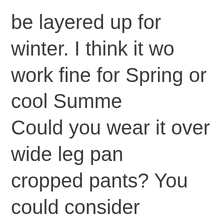be layered up for winter. I think it work fine for Spring or cool Summer. Could you wear it over wide leg pan cropped pants? You could consider putting in side slits, but then you ca wear it as a dress.
I like the grey tunic long or you coul get it shortened to hip length, which might make it more versatile for yo